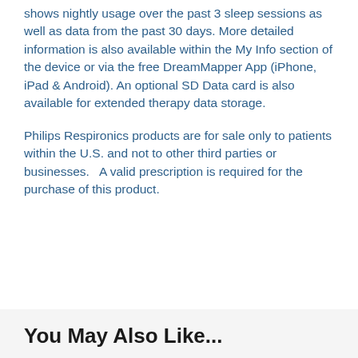shows nightly usage over the past 3 sleep sessions as well as data from the past 30 days. More detailed information is also available within the My Info section of the device or via the free DreamMapper App (iPhone, iPad & Android). An optional SD Data card is also available for extended therapy data storage.
Philips Respironics products are for sale only to patients within the U.S. and not to other third parties or businesses.   A valid prescription is required for the purchase of this product.
You May Also Like...